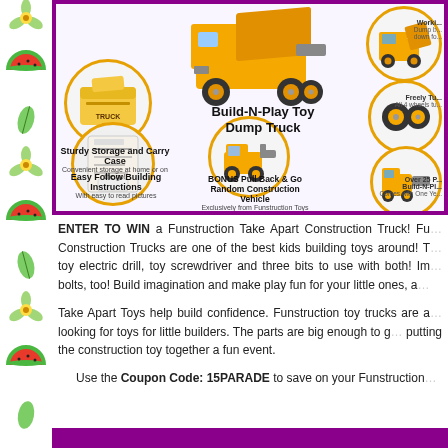[Figure (photo): Product advertisement image for Build-N-Play Toy Dump Truck by Funstruction Toys, showing the toy truck, storage case, building instructions, and bonus pull-back vehicle with feature callouts.]
ENTER TO WIN a Funstruction Take Apart Construction Truck! Funstruction Take Apart Construction Trucks are one of the best kids building toys around! They come with a toy electric drill, toy screwdriver and three bits to use with both! Includes nuts and bolts, too! Build imagination and make play fun for your little ones, a
Take Apart Toys help build confidence. Funstruction toy trucks are a great choice for looking for toys for little builders. The parts are big enough to grab onto making putting the construction toy together a fun event.
Use the Coupon Code: 15PARADE to save on your Funstruction